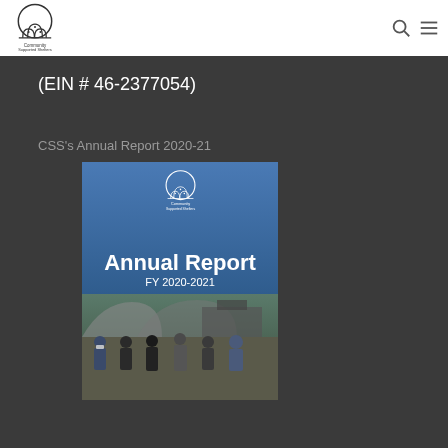[Figure (logo): Community Supported Shelters logo — arch-shaped building icon with text 'Community Supported Shelters' below]
(EIN # 46-2377054)
CSS's Annual Report 2020-21
[Figure (photo): Cover of the CSS Annual Report FY 2020-2021. Blue gradient background with Community Supported Shelters logo at top, 'Annual Report' in large white text, 'FY 2020-2021' below, and a photo of six people standing in front of dome-shaped shelters.]